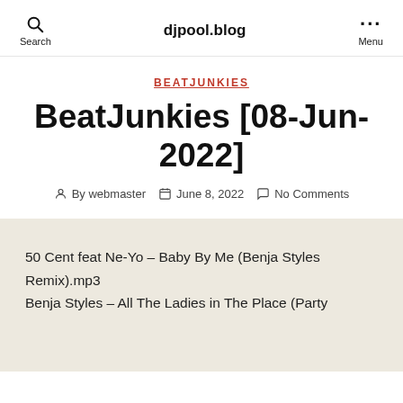djpool.blog
BEATJUNKIES
BeatJunkies [08-Jun-2022]
By webmaster   June 8, 2022   No Comments
50 Cent feat Ne-Yo – Baby By Me (Benja Styles Remix).mp3
Benja Styles – All The Ladies in The Place (Party